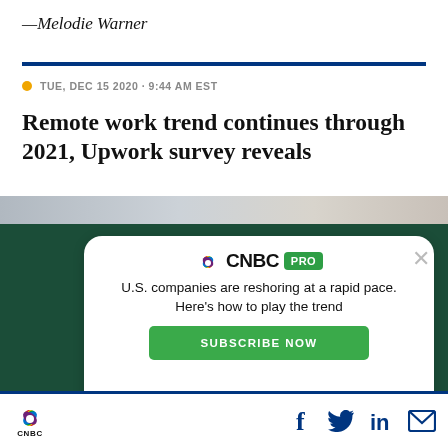—Melodie Warner
TUE, DEC 15 2020 · 9:44 AM EST
Remote work trend continues through 2021, Upwork survey reveals
[Figure (screenshot): CNBC PRO subscription advertisement overlay with white card on dark green background. Text: 'U.S. companies are reshoring at a rapid pace. Here's how to play the trend' with a green 'SUBSCRIBE NOW' button.]
CNBC logo with social media icons: Facebook, Twitter, LinkedIn, Email